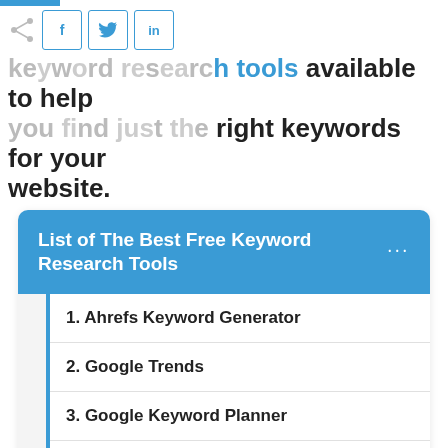keyword research tools available to help you find just the right keywords for your website.
List of The Best Free Keyword Research Tools
1. Ahrefs Keyword Generator
2. Google Trends
3. Google Keyword Planner
4. Answer the Public
5. Keyword Sheeter